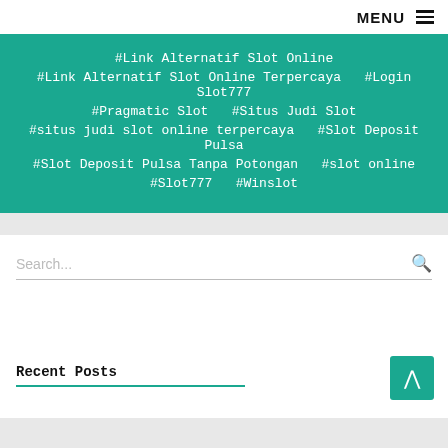MENU ☰
#Link Alternatif Slot Online  #Link Alternatif Slot Online Terpercaya  #Login Slot777  #Pragmatic Slot  #Situs Judi Slot  #situs judi slot online terpercaya  #Slot Deposit Pulsa  #Slot Deposit Pulsa Tanpa Potongan  #slot online  #Slot777  #Winslot
Search...
Recent Posts